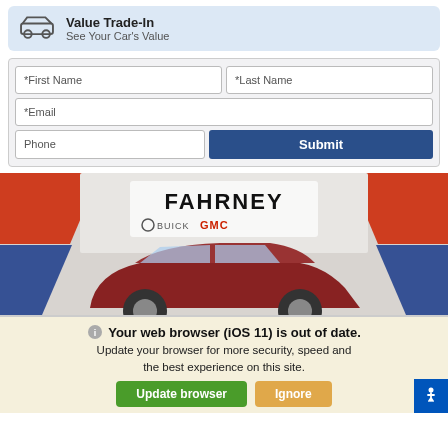Value Trade-In
See Your Car's Value
*First Name
*Last Name
*Email
Phone
Submit
[Figure (photo): Fahrney Buick GMC dealership banner with logo and red car image]
Your web browser (iOS 11) is out of date.
Update your browser for more security, speed and the best experience on this site.
Update browser
Ignore